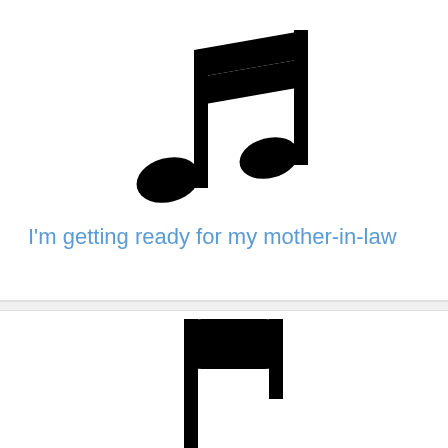[Figure (illustration): Large black music note icon (double eighth note / beamed quavers) centered in upper card area]
I'm getting ready for my mother-in-law
[Figure (illustration): Large black music note icon (single quarter note / flag note) partially visible in lower card area, cropped at bottom]